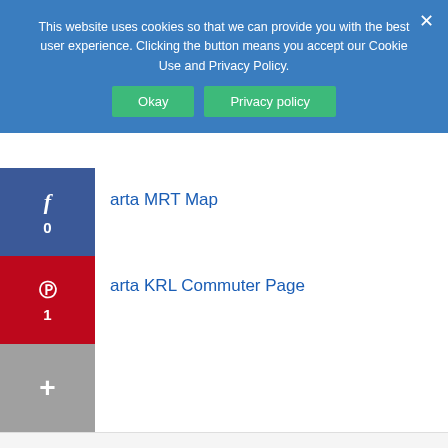This website uses cookies so that we can provide you with the best user experience. Clicking the button means you accept our Cookie Use and Privacy Policy.
Okay | Privacy policy
f 0
Jakarta MRT Map
p 1
Jakarta KRL Commuter Page
+
Jakarta MRT Stations Quicklinks
Bundaran HI MRT Station